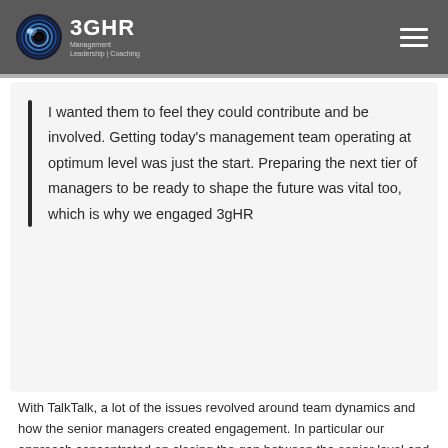3GHR Management | Leadership | Coaching
I wanted them to feel they could contribute and be involved. Getting today’s management team operating at optimum level was just the start. Preparing the next tier of managers to be ready to shape the future was vital too, which is why we engaged 3gHR
With TalkTalk, a lot of the issues revolved around team dynamics and how the senior managers created engagement. In particular our approach concentrated on closing the gap between the senior level and lower tiers of managers. This has been extremely successful to encourage a climate of change, collaboration and